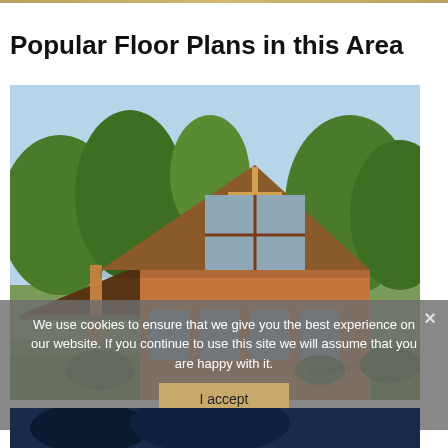Popular Floor Plans in this Area
[Figure (photo): Exterior rendering of a wood-framed cabin/cottage style house with a steep gabled roof, large front windows, covered porch on the left, and surrounding trees and landscaping.]
We use cookies to ensure that we give you the best experience on our website. If you continue to use this site we will assume that you are happy with it.
[Figure (photo): Partial view of another house/floor plan image at the bottom, appears dark blue/night scene.]